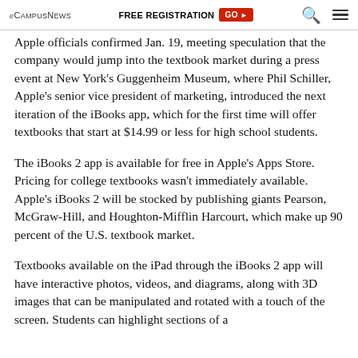eCampusNews | FREE REGISTRATION GO | Search | Menu
Apple officials confirmed Jan. 19, meeting speculation that the company would jump into the textbook market during a press event at New York's Guggenheim Museum, where Phil Schiller, Apple's senior vice president of marketing, introduced the next iteration of the iBooks app, which for the first time will offer textbooks that start at $14.99 or less for high school students.
The iBooks 2 app is available for free in Apple's Apps Store. Pricing for college textbooks wasn't immediately available. Apple's iBooks 2 will be stocked by publishing giants Pearson, McGraw-Hill, and Houghton-Mifflin Harcourt, which make up 90 percent of the U.S. textbook market.
Textbooks available on the iPad through the iBooks 2 app will have interactive photos, videos, and diagrams, along with 3D images that can be manipulated and rotated with a touch of the screen. Students can highlight sections of a